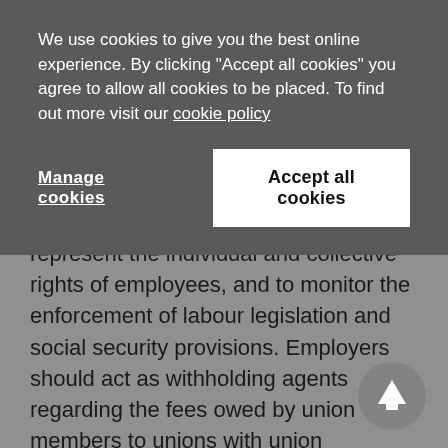We use cookies to give you the best online experience. By clicking "Accept all cookies" you agree to allow all cookies to be placed. To find out more visit our cookie policy
Manage cookies
Accept all cookies
represent the individual and collective rights of employees, and to monitor the enforcement of labour legislation and social security provisions. Employers should act as withholding agents regarding the fees owed by union members to unions with union representation status. As mentioned above, registered employee associations do not have union status representation rights, which means they do not have bargaining and collective union rights.